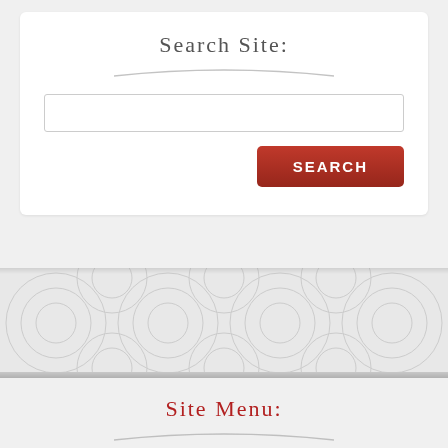Search Site:
[Figure (screenshot): Search input box (text field)]
[Figure (screenshot): Search button in red/crimson with white uppercase SEARCH label]
[Figure (illustration): Decorative pattern band with light gray circular swirl pattern]
Site Menu:
Home